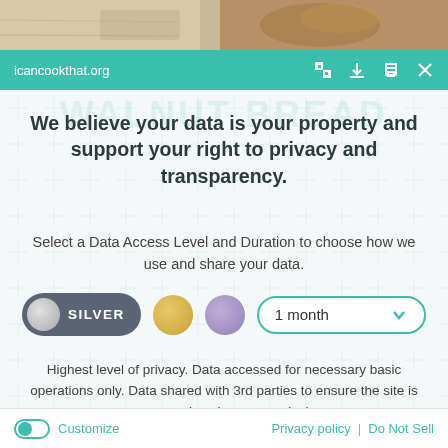[Figure (screenshot): Top strip showing partial food/bread photo]
icancookthat.org
We believe your data is your property and support your right to privacy and transparency.
Select a Data Access Level and Duration to choose how we use and share your data.
[Figure (infographic): Privacy level selector showing SILVER pill toggle, gold circle, purple circle, and 1 month dropdown]
Highest level of privacy. Data accessed for necessary basic operations only. Data shared with 3rd parties to ensure the site is secure and works on your device
[Figure (infographic): Save my preferences button - teal rounded rectangle]
Customize   Privacy policy | Do Not Sell